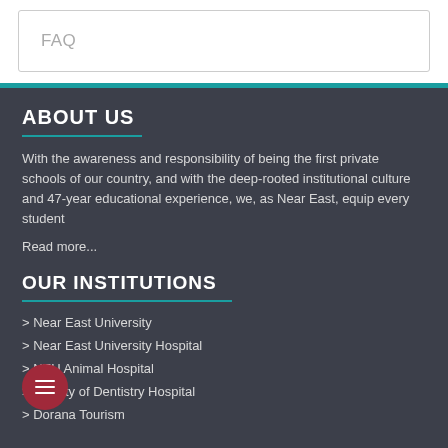FAQ
ABOUT US
With the awareness and responsibility of being the first private schools of our country, and with the deep-rooted institutional culture and 47-year educational experience, we, as Near East, equip every student
Read more...
OUR INSTITUTIONS
> Near East University
> Near East University Hospital
> NEU Animal Hospital
> Faculty of Dentistry Hospital
> Dorana Tourism